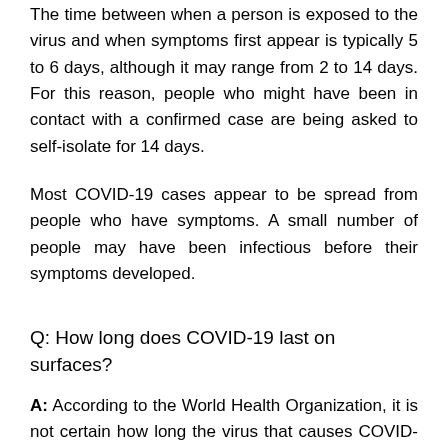The time between when a person is exposed to the virus and when symptoms first appear is typically 5 to 6 days, although it may range from 2 to 14 days. For this reason, people who might have been in contact with a confirmed case are being asked to self-isolate for 14 days.
Most COVID-19 cases appear to be spread from people who have symptoms. A small number of people may have been infectious before their symptoms developed.
Q: How long does COVID-19 last on surfaces?
A: According to the World Health Organization, it is not certain how long the virus that causes COVID-19 survives on surfaces, but it seems to behave like other coronaviruses. Studies suggest that coronaviruses (including preliminary